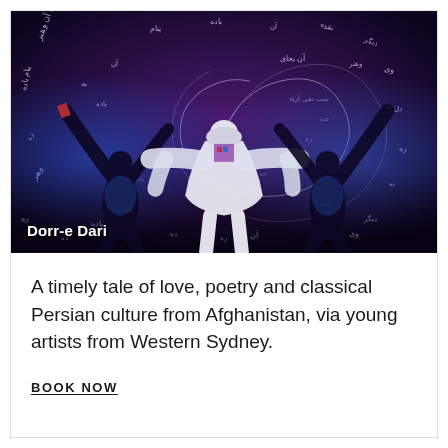[Figure (photo): Three performers on a dark stage with purple/dark background covered in glowing Arabic/Persian calligraphy scripts arranged in spiral patterns. A central female performer in white robes and hijab stands with arms outstretched, flanked by two male performers also with arms raised. Blue stage lighting. Text overlay reads 'Dorr-e Dari' in white bold text at lower left.]
Dorr-e Dari
A timely tale of love, poetry and classical Persian culture from Afghanistan, via young artists from Western Sydney.
BOOK NOW